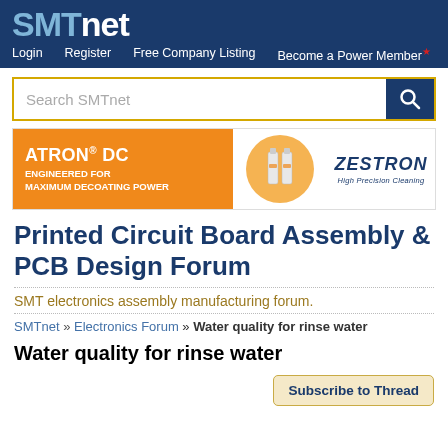SMTnet — Login | Register | Free Company Listing | Become a Power Member
[Figure (screenshot): SMTnet website screenshot with navigation bar, search bar, advertisement banner for ATRON DC by Zestron, forum title, breadcrumb, and thread title]
Printed Circuit Board Assembly & PCB Design Forum
SMT electronics assembly manufacturing forum.
SMTnet » Electronics Forum » Water quality for rinse water
Water quality for rinse water